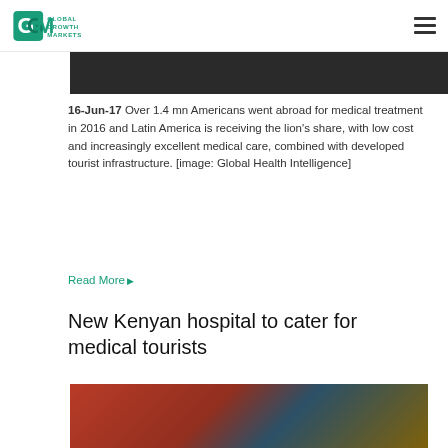Global Growth Markets
[Figure (photo): Partial view of a person, cropped at top of page]
16-Jun-17 Over 1.4 mn Americans went abroad for medical treatment in 2016 and Latin America is receiving the lion's share, with low cost and increasingly excellent medical care, combined with developed tourist infrastructure. [image: Global Health Intelligence]
Read More ▶
New Kenyan hospital to cater for medical tourists
[Figure (photo): A formal event photograph showing a speaker at a podium with an audience seated in the background, red decorations visible]